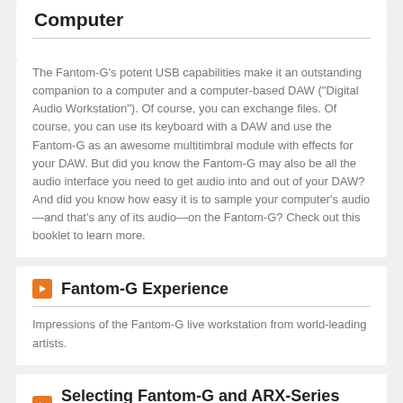Computer
The Fantom-G's potent USB capabilities make it an outstanding companion to a computer and a computer-based DAW ("Digital Audio Workstation"). Of course, you can exchange files. Of course, you can use its keyboard with a DAW and use the Fantom-G as an awesome multitimbral module with effects for your DAW. But did you know the Fantom-G may also be all the audio interface you need to get audio into and out of your DAW? And did you know how easy it is to sample your computer's audio—and that's any of its audio—on the Fantom-G? Check out this booklet to learn more.
Fantom-G Experience
Impressions of the Fantom-G live workstation from world-leading artists.
Selecting Fantom-G and ARX-Series Sounds Via MIDI
Fantom-G ReleaseNote 120: Understanding